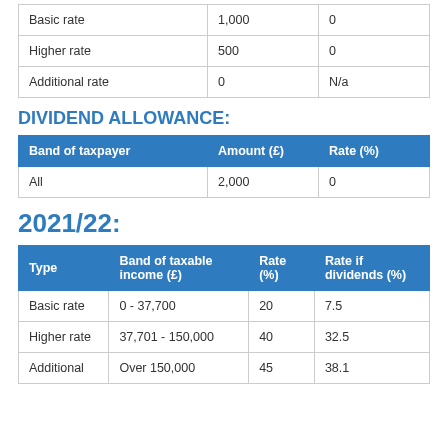| Basic rate | 1,000 | 0 |
| Higher rate | 500 | 0 |
| Additional rate | 0 | N/a |
DIVIDEND ALLOWANCE:
| Band of taxpayer | Amount (£) | Rate (%) |
| --- | --- | --- |
| All | 2,000 | 0 |
2021/22:
| Type | Band of taxable income (£) | Rate (%) | Rate if dividends (%) |
| --- | --- | --- | --- |
| Basic rate | 0 - 37,700 | 20 | 7.5 |
| Higher rate | 37,701 - 150,000 | 40 | 32.5 |
| Additional | Over 150,000 | 45 | 38.1 |